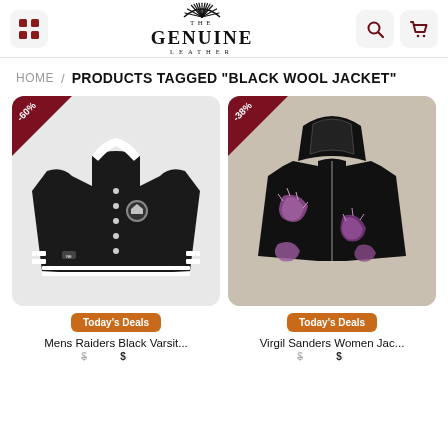THE GENUINE LEATHER
HOME / PRODUCTS TAGGED "BLACK WOOL JACKET"
[Figure (photo): Black Raiders varsity jacket with white stripe trim and Raiders emblem, on white background, with -60% discount badge in dark red corner]
Today's Deals
Mens Raiders Black Varsit...
[Figure (photo): Black oversized zip-up jacket with purple/pink graphic patches and details, on mannequin, with -38% discount badge in dark red corner]
Today's Deals
Virgil Sanders Women Jac...